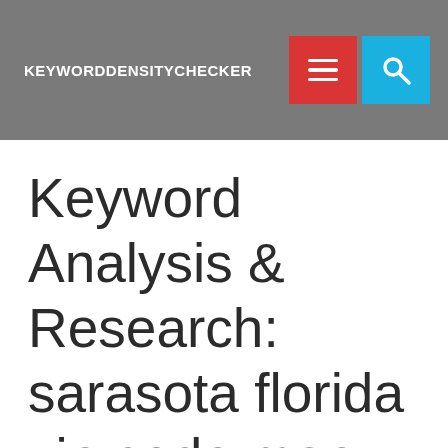KEYWORDDENSITYCHECKER
Keyword Analysis & Research: sarasota florida zip code map